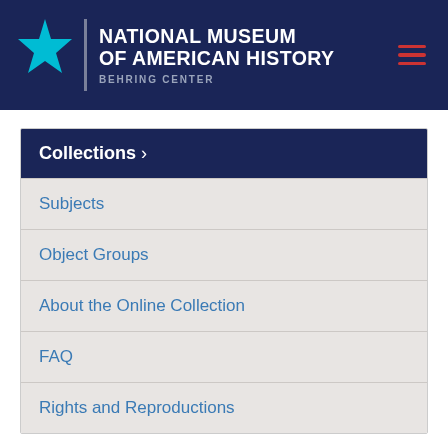NATIONAL MUSEUM OF AMERICAN HISTORY BEHRING CENTER
Collections >
Subjects
Object Groups
About the Online Collection
FAQ
Rights and Reproductions
Casio Mini CM-602 Handheld Electronic